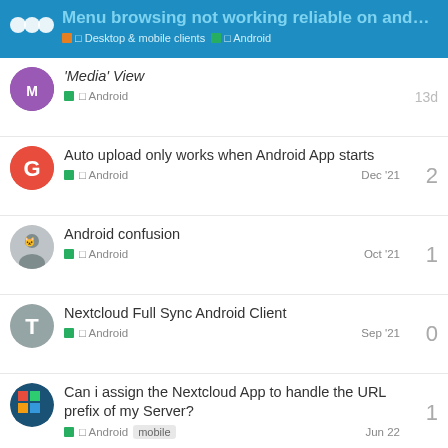Menu browsing not working reliable on andro... | Desktop & mobile clients | Android
'Media' View | Android | 13d | replies: (implied)
Auto upload only works when Android App starts | Android | Dec '21 | replies: 2
Android confusion | Android | Oct '21 | replies: 1
Nextcloud Full Sync Android Client | Android | Sep '21 | replies: 0
Can i assign the Nextcloud App to handle the URL prefix of my Server? | Android | mobile | Jun 22 | replies: 1
Want to read more? Browse other topics in